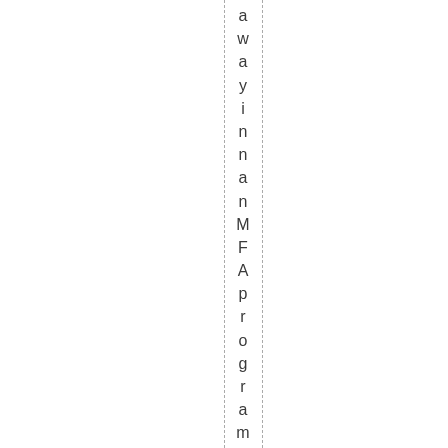away in an MFA program, writing a novel